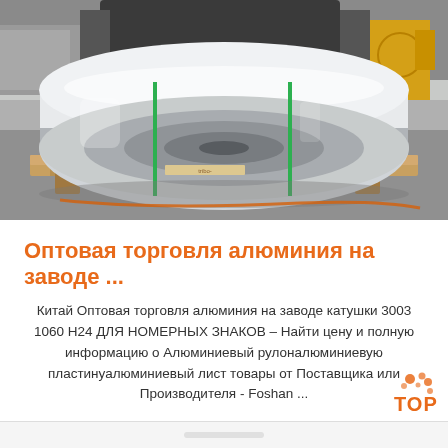[Figure (photo): Industrial photo of a large shiny aluminum coil roll on wooden pallets inside a factory warehouse. Two green straps hold the coil. Machinery and yellow equipment visible in the background.]
Оптовая торговля алюминия на заводе ...
Китай Оптовая торговля алюминия на заводе катушки 3003 1060 H24 ДЛЯ НОМЕРНЫХ ЗНАКОВ – Найти цену и полную информацию о Алюминиевый рулоналюминиевую пластинуалюминиевый лист товары от Поставщика или Производителя - Foshan ...